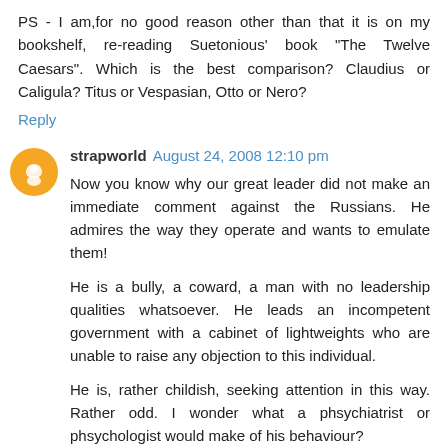PS - I am,for no good reason other than that it is on my bookshelf, re-reading Suetonious' book "The Twelve Caesars". Which is the best comparison? Claudius or Caligula? Titus or Vespasian, Otto or Nero?
Reply
strapworld August 24, 2008 12:10 pm
Now you know why our great leader did not make an immediate comment against the Russians. He admires the way they operate and wants to emulate them!
He is a bully, a coward, a man with no leadership qualities whatsoever. He leads an incompetent government with a cabinet of lightweights who are unable to raise any objection to this individual.
He is, rather childish, seeking attention in this way. Rather odd. I wonder what a phsychiatrist or phsychologist would make of his behaviour?